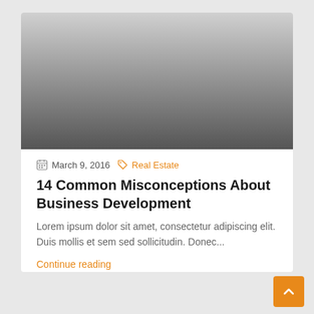[Figure (photo): Gray gradient hero image, light at top fading to dark at bottom]
March 9, 2016   Real Estate
14 Common Misconceptions About Business Development
Lorem ipsum dolor sit amet, consectetur adipiscing elit. Duis mollis et sem sed sollicitudin. Donec...
Continue reading
by Martin Moore